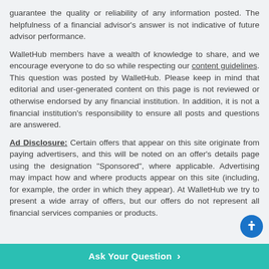guarantee the quality or reliability of any information posted. The helpfulness of a financial advisor's answer is not indicative of future advisor performance.
WalletHub members have a wealth of knowledge to share, and we encourage everyone to do so while respecting our content guidelines. This question was posted by WalletHub. Please keep in mind that editorial and user-generated content on this page is not reviewed or otherwise endorsed by any financial institution. In addition, it is not a financial institution's responsibility to ensure all posts and questions are answered.
Ad Disclosure: Certain offers that appear on this site originate from paying advertisers, and this will be noted on an offer's details page using the designation "Sponsored", where applicable. Advertising may impact how and where products appear on this site (including, for example, the order in which they appear). At WalletHub we try to present a wide array of offers, but our offers do not represent all financial services companies or products.
Ask Your Question >